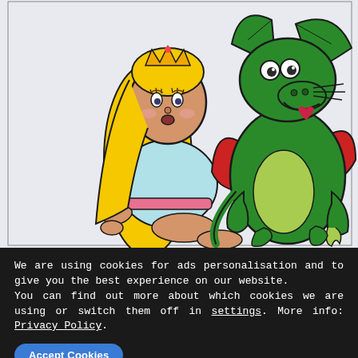[Figure (illustration): Cartoon illustration of a blonde princess with a gold crown wearing a light blue dress and pink belt, sitting on the ground looking surprised, next to a green cartoon dragon with red wings, light green belly, and an open mouth showing a heart, against a light blue-grey background.]
We are using cookies for ads personalisation and to give you the best experience on our website.
You can find out more about which cookies we are using or switch them off in settings. More info: Privacy Policy.
Accept Cookies